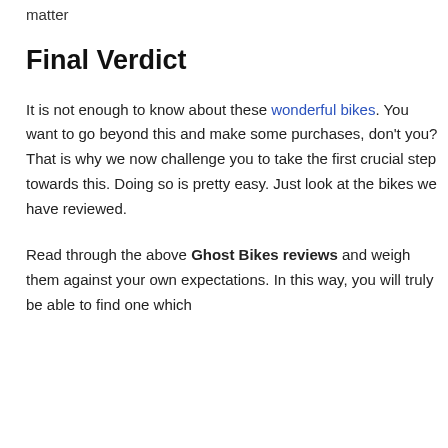matter
Final Verdict
It is not enough to know about these wonderful bikes. You want to go beyond this and make some purchases, don't you? That is why we now challenge you to take the first crucial step towards this. Doing so is pretty easy. Just look at the bikes we have reviewed.
Read through the above Ghost Bikes reviews and weigh them against your own expectations. In this way, you will truly be able to find one which